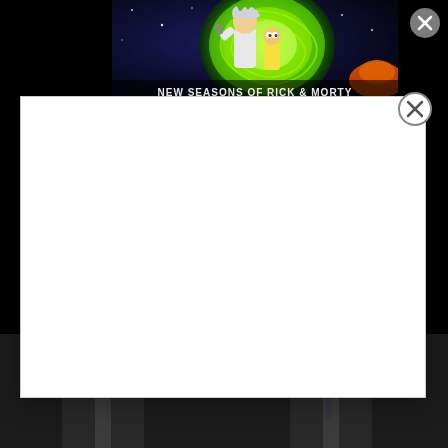[Figure (screenshot): Screenshot of a webpage showing a Rick and Morty advertisement banner at top with text 'NEW SEASONS OF RICK & MORTY', a large white modal/popup overlay in the center with a close (X) button, and a dark photo at the bottom showing two men in suits and ties]